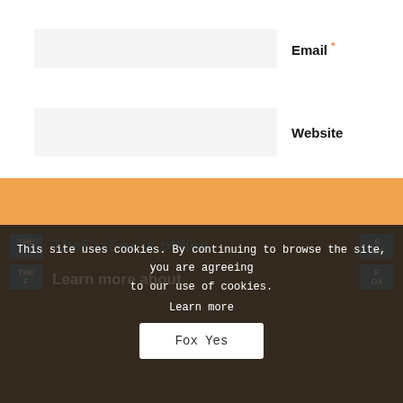Email *
Website
Post Comment
This site uses cookies. By continuing to browse the site, you are agreeing to our use of cookies.
Learn more
Fox Yes
TheFaxFox is offline.
Learn more about